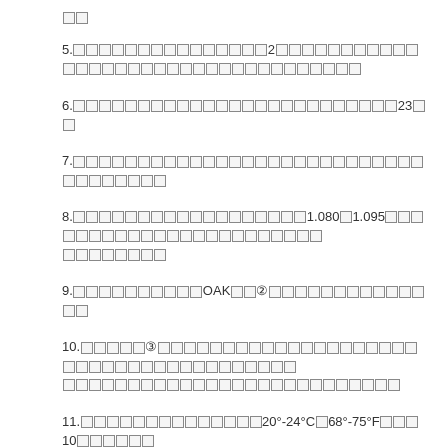□□
5.□□□□□□□□□□□□□□□2□□□□□□□□□□□□□□□□□□□□□□□□□□□□□
6.□□□□□□□□□□□□□□□□□□□□□□□□23□□
7.□□□□□□□□□□□□□□□□□□□□□□□□□□□□□□□□□□
8.□□□□□□□□□□□□□□□□□□1.080□1.095□□□□□□□□□□□□□□□□□□□□□□□□
9.□□□□□□□□OAK□□②□□□□□□□□□□□□□□□
10.□□□□□③□□□□□□□□□□□□□□□□□□□□□□□□□□□□□□□□□□□□□□□□□□□□□□□□□□□□□□□□□□□□□□□□□□□□□
11.□□□□□□□□□□□□□□20°-24°C□68°-75°F□□□10□□□□□□